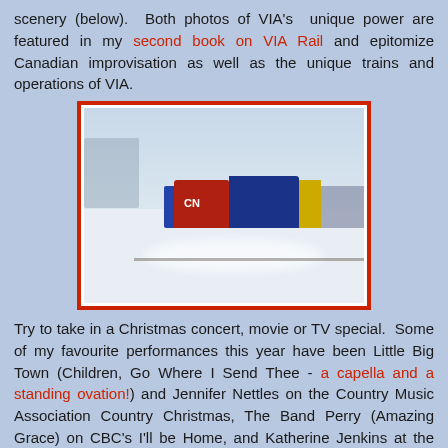scenery (below). Both photos of VIA's unique power are featured in my second book on VIA Rail and epitomize Canadian improvisation as well as the unique trains and operations of VIA.
[Figure (photo): A CN locomotive pulling passenger cars through a snowy winter landscape, photographed from a low angle showing the train moving through drifting snow.]
Try to take in a Christmas concert, movie or TV special. Some of my favourite performances this year have been Little Big Town (Children, Go Where I Send Thee - a capella and a standing ovation!) and Jennifer Nettles on the Country Music Association Country Christmas, The Band Perry (Amazing Grace) on CBC's I'll be Home, and Katherine Jenkins at the Mormon Tabernacle at Temple Square.
Merry Christmas to all Trackside Treasure readers,